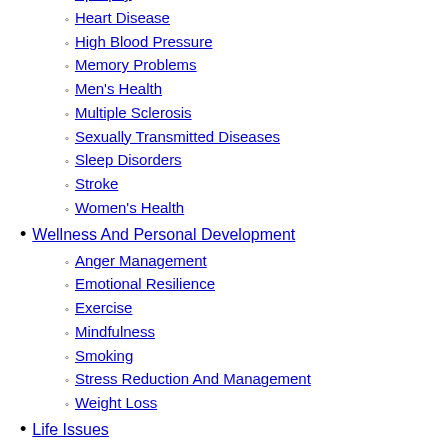Epilepsy
Heart Disease
High Blood Pressure
Memory Problems
Men's Health
Multiple Sclerosis
Sexually Transmitted Diseases
Sleep Disorders
Stroke
Women's Health
Wellness And Personal Development
Anger Management
Emotional Resilience
Exercise
Mindfulness
Smoking
Stress Reduction And Management
Weight Loss
Life Issues
Abuse
Adoption
Dating
Disabilities
Disasters
Divorce